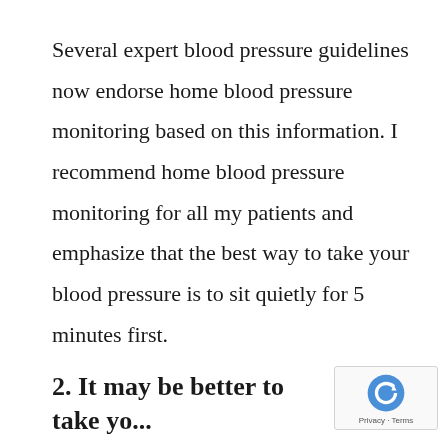Several expert blood pressure guidelines now endorse home blood pressure monitoring based on this information. I recommend home blood pressure monitoring for all my patients and emphasize that the best way to take your blood pressure is to sit quietly for 5 minutes first.
2. It may be better to take yo...